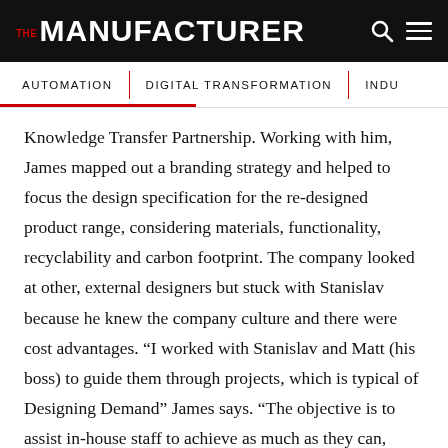THE MANUFACTURER
AUTOMATION   DIGITAL TRANSFORMATION   INDU
Knowledge Transfer Partnership. Working with him, James mapped out a branding strategy and helped to focus the design specification for the re-designed product range, considering materials, functionality, recyclability and carbon footprint. The company looked at other, external designers but stuck with Stanislav because he knew the company culture and there were cost advantages. “I worked with Stanislav and Matt (his boss) to guide them through projects, which is typical of Designing Demand” James says. “The objective is to assist in-house staff to achieve as much as they can, though we did use an external agency for the corporate ID resign.” Fleming says the entire redesign journey was a